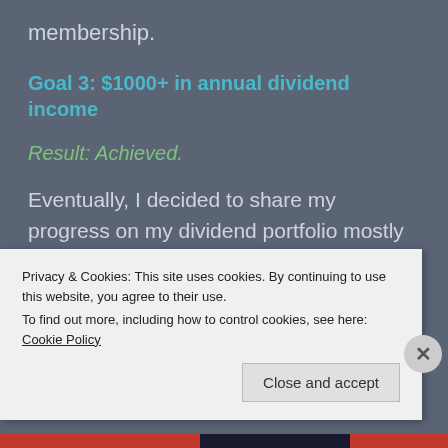membership.
Goal 3: $1000+ in annual dividend income
Result: Achieved.
Eventually, I decided to share my progress on my dividend portfolio mostly for my own self and I will continue doing so until it makes sense. If it happens to motivate someone in the process, I will consider that as a huge plus for myself.
Privacy & Cookies: This site uses cookies. By continuing to use this website, you agree to their use.
To find out more, including how to control cookies, see here: Cookie Policy
Close and accept